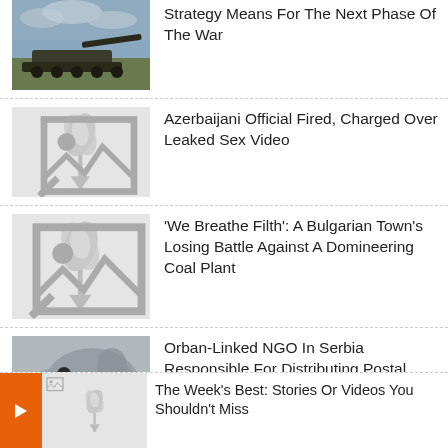[Figure (photo): Military artillery vehicle in field with cloudy sky]
Strategy Means For The Next Phase Of The War
[Figure (photo): Placeholder image with broken image icon]
Azerbaijani Official Fired, Charged Over Leaked Sex Video
[Figure (photo): Placeholder image with broken image icon]
'We Breathe Filth': A Bulgarian Town's Losing Battle Against A Domineering Coal Plant
[Figure (illustration): Illustration of Orban-linked figure with Hungarian flag and map silhouette]
Orban-Linked NGO In Serbia Responsible For Distributing Postal Votes To Ethnic Hungarians
[Figure (photo): Placeholder image with broken image icon]
The Week's Best: Stories Or Videos You Shouldn't Miss